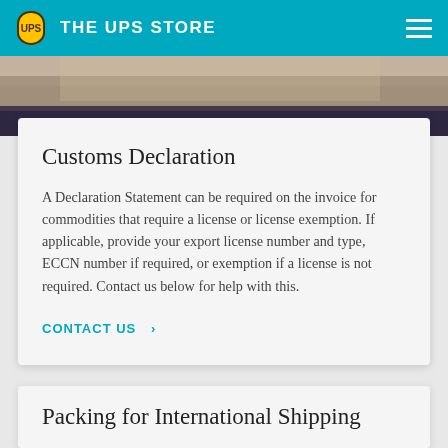THE UPS STORE
[Figure (photo): Blurred photo showing a dark object on a warm-toned background, used as decorative banner image]
Customs Declaration
A Declaration Statement can be required on the invoice for commodities that require a license or license exemption. If applicable, provide your export license number and type, ECCN number if required, or exemption if a license is not required. Contact us below for help with this.
CONTACT US ›
Packing for International Shipping